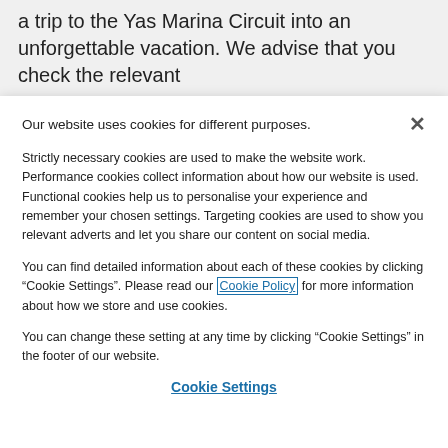a trip to the Yas Marina Circuit into an unforgettable vacation. We advise that you check the relevant
Our website uses cookies for different purposes.
Strictly necessary cookies are used to make the website work. Performance cookies collect information about how our website is used. Functional cookies help us to personalise your experience and remember your chosen settings. Targeting cookies are used to show you relevant adverts and let you share our content on social media.
You can find detailed information about each of these cookies by clicking “Cookie Settings”. Please read our Cookie Policy for more information about how we store and use cookies.
You can change these setting at any time by clicking “Cookie Settings” in the footer of our website.
Cookie Settings